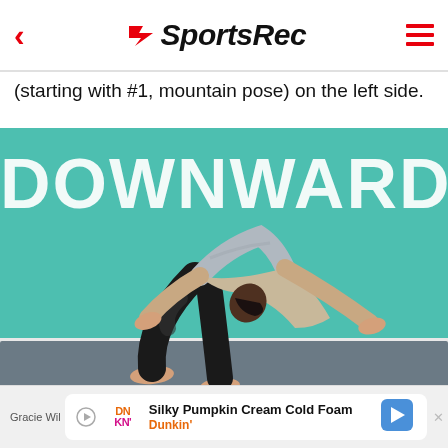SportsRec
(starting with #1, mountain pose) on the left side.
[Figure (photo): A person performing the downward dog yoga pose on a gray mat in front of a teal/green background with 'DOWNWARD DOG' text. The person wears black leggings and a gray top.]
Gracie Wil  |  Silky Pumpkin Cream Cold Foam  Dunkin'